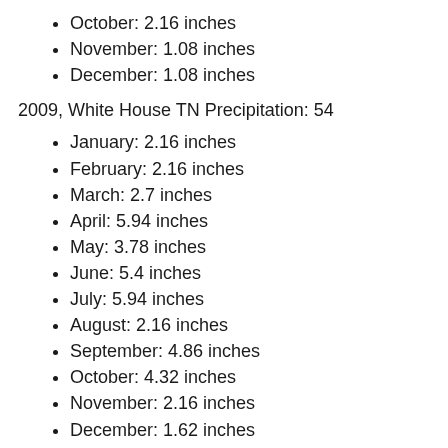October: 2.16 inches
November: 1.08 inches
December: 1.08 inches
2009, White House TN Precipitation: 54
January: 2.16 inches
February: 2.16 inches
March: 2.7 inches
April: 5.94 inches
May: 3.78 inches
June: 5.4 inches
July: 5.94 inches
August: 2.16 inches
September: 4.86 inches
October: 4.32 inches
November: 2.16 inches
December: 1.62 inches
2008, White House TN Precipitation: 57